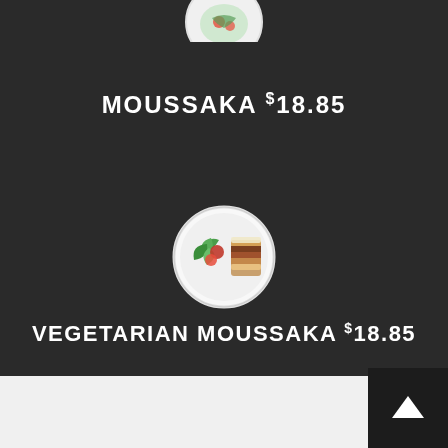[Figure (photo): Circular plate with food item (partially visible at top of page), white plate on dark background]
MOUSSAKA $18.85
[Figure (photo): Circular plate with vegetarian moussaka dish showing green salad and layered pastry/moussaka slice on white plate]
VEGETARIAN MOUSSAKA $18.85